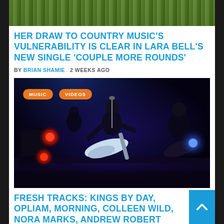[Figure (photo): Top portion of a photo showing green grass, partially cropped]
HER DRAW TO COUNTRY MUSIC'S VULNERABILITY IS CLEAR IN LARA BELL'S NEW SINGLE 'COUPLE MORE ROUNDS'
BY BRIAN SHAMIE   2 WEEKS AGO
[Figure (photo): Band performing on stage with blue/purple lighting, guitarist at center singing into microphone with white guitar, another guitarist on right, red stage lights on left side, tags: MUSIC, VIDEOS]
FRESH TRACKS: KINGS BY DAY, OPLIAM, MORNING, COLLEEN WILD, NORA MARKS, ANDREW ROBERT PALMER, MIKE GIANNINI, BOUNDARY WATERS AND MORE